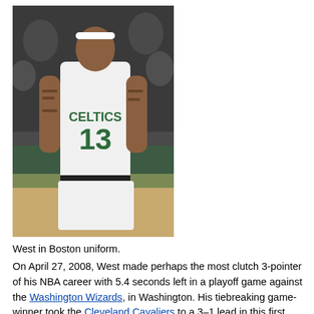[Figure (photo): Basketball player wearing a white Boston Celtics jersey with number 13, photographed from behind/side, showing tattoos on his arms.]
West in Boston uniform.
On April 27, 2008, West made perhaps the most clutch 3-pointer of his NBA career with 5.4 seconds left in a playoff game against the Washington Wizards, in Washington. His tiebreaking game-winner took the Cleveland Cavaliers to a 3–1 lead in this first round series. [4] In 13 playoff games, West averaged 10.8 points, 4.2 assists, and 3.3 rebounds. West scored 21 points in both Game 3 and Game 5 against the Boston Celtics.